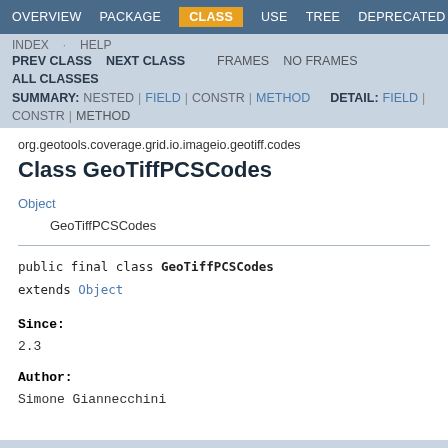OVERVIEW  PACKAGE  CLASS  USE  TREE  DEPRECATED
INDEX  HELP  PREV CLASS  NEXT CLASS  FRAMES  NO FRAMES  ALL CLASSES
SUMMARY: NESTED | FIELD | CONSTR | METHOD  DETAIL: FIELD | CONSTR | METHOD
org.geotools.coverage.grid.io.imageio.geotiff.codes
Class GeoTiffPCSCodes
Object
    GeoTiffPCSCodes
public final class GeoTiffPCSCodes
extends Object
Since:
2.3
Author:
Simone Giannecchini